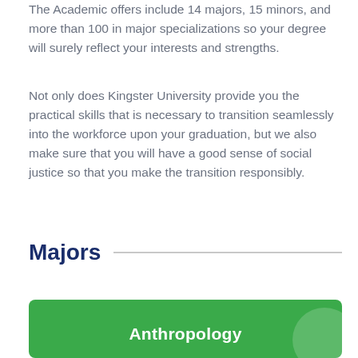The Academic offers include 14 majors, 15 minors, and more than 100 in major specializations so your degree will surely reflect your interests and strengths.
Not only does Kingster University provide you the practical skills that is necessary to transition seamlessly into the workforce upon your graduation, but we also make sure that you will have a good sense of social justice so that you make the transition responsibly.
Majors
[Figure (infographic): Green card/tile with label 'Anthropology' and a decorative white semi-transparent circle in the upper right corner.]